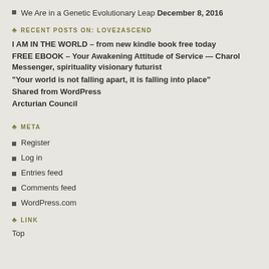We Are in a Genetic Evolutionary Leap December 8, 2016
RECENT POSTS ON: LOVE2ASCEND
I AM IN THE WORLD – from new kindle book free today
FREE EBOOK – Your Awakening Attitude of Service — Charol Messenger, spirituality visionary futurist
“Your world is not falling apart, it is falling into place”
Shared from WordPress
Arcturian Council
META
Register
Log in
Entries feed
Comments feed
WordPress.com
LINK
Top